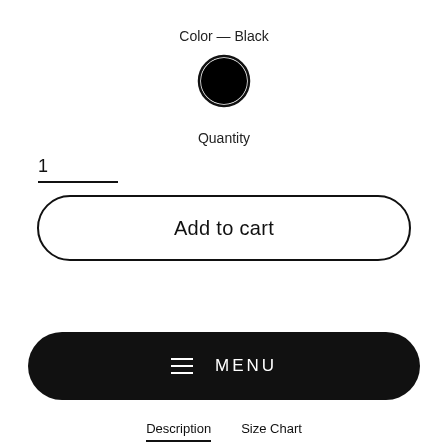Color — Black
[Figure (illustration): Black filled circle with a dark ring outline representing the selected color swatch for Black]
Quantity
1
Add to cart
Pay in 4 interest-free installments for orders over $50 with Shop Pay
MENU
Description
Size Chart